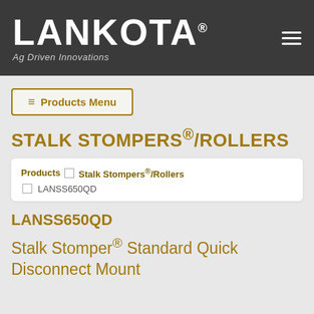LANKOTA® — Ag Driven Innovations
≡ Products Menu
STALK STOMPERS®/ROLLERS
Products □ Stalk Stompers®/Rollers □ LANSS650QD
LANSS650QD
Stalk Stomper® Standard Quick Disconnect Mount